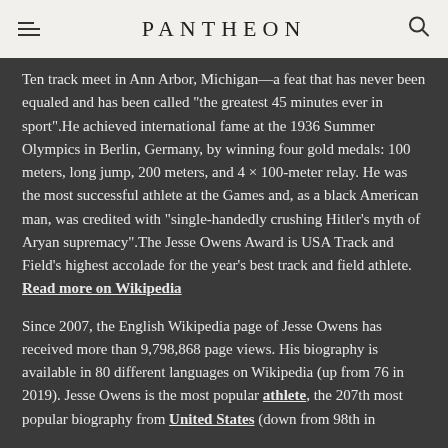PANTHEON
Ten track meet in Ann Arbor, Michigan—a feat that has never been equaled and has been called "the greatest 45 minutes ever in sport".He achieved international fame at the 1936 Summer Olympics in Berlin, Germany, by winning four gold medals: 100 meters, long jump, 200 meters, and 4 × 100-meter relay. He was the most successful athlete at the Games and, as a black American man, was credited with "single-handedly crushing Hitler's myth of Aryan supremacy".The Jesse Owens Award is USA Track and Field's highest accolade for the year's best track and field athlete. Read more on Wikipedia
Since 2007, the English Wikipedia page of Jesse Owens has received more than 9,798,868 page views. His biography is available in 80 different languages on Wikipedia (up from 76 in 2019). Jesse Owens is the most popular athlete, the 207th most popular biography from United States (down from 98th in